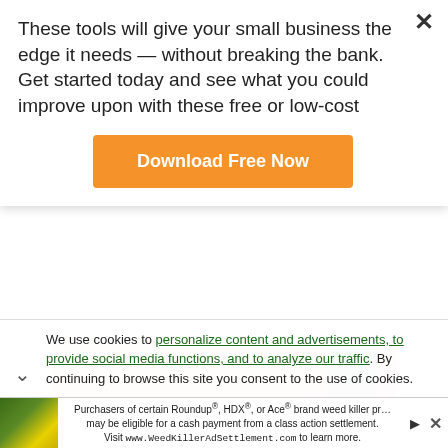These tools will give your small business the edge it needs — without breaking the bank. Get started today and see what you could improve upon with these free or low-cost
Download Free Now
[Figure (photo): Close-up photo of a person's chest/neckline area showing skin and a thin necklace with a small pendant, wearing a grey/blue strap top]
Jessie chose a foundation and primer as similar to her
We use cookies to personalize content and advertisements, to provide social media functions, and to analyze our traffic. By continuing to browse this site you consent to the use of cookies.
Purchasers of certain Roundup®, HDX®, or Ace® brand weed killer products may be eligible for a cash payment from a class action settlement. Visit www.WeedKillerAdSettlement.com to learn more.